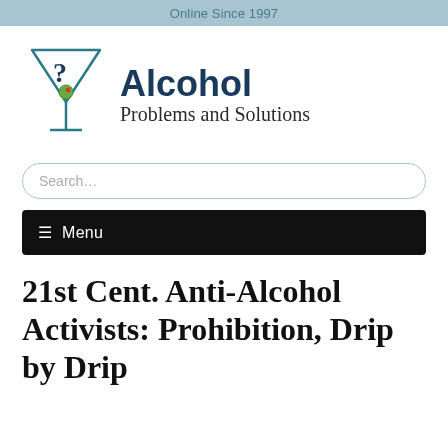Online Since 1997
[Figure (logo): Martini glass with question mark and olive logo for Alcohol Problems and Solutions website]
Alcohol Problems and Solutions
Search…
☰ Menu
21st Cent. Anti-Alcohol Activists: Prohibition, Drip by Drip